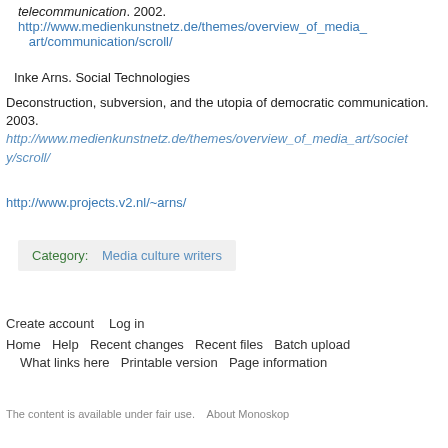telecommunication. 2002. http://www.medienkunstnetz.de/themes/overview_of_media_art/communication/scroll/
Inke Arns. Social Technologies
Deconstruction, subversion, and the utopia of democratic communication. 2003. http://www.medienkunstnetz.de/themes/overview_of_media_art/society/scroll/
http://www.projects.v2.nl/~arns/
Category: Media culture writers
Create account   Log in
Home   Help   Recent changes   Recent files   Batch upload   What links here   Printable version   Page information
The content is available under fair use.   About Monoskop